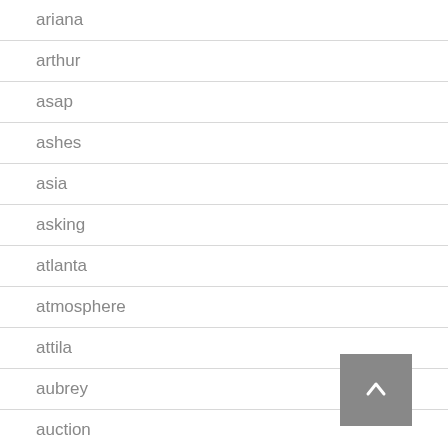ariana
arthur
asap
ashes
asia
asking
atlanta
atmosphere
attila
aubrey
auction
august